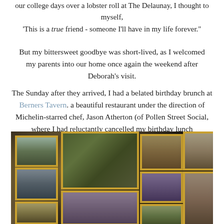our college days over a lobster roll at The Delaunay, I thought to myself, 'This is a true friend - someone I'll have in my life forever.'
But my bittersweet goodbye was short-lived, as I welcomed my parents into our home once again the weekend after Deborah's visit.
The Sunday after they arrived, I had a belated birthday brunch at Berners Tavern. a beautiful restaurant under the direction of Michelin-starred chef, Jason Atherton (of Pollen Street Social, where I had reluctantly cancelled my birthday lunch reservation), in Fitzrovia.
[Figure (photo): Interior wall of Berners Tavern restaurant covered with multiple gold-framed paintings of various sizes arranged in gallery style]